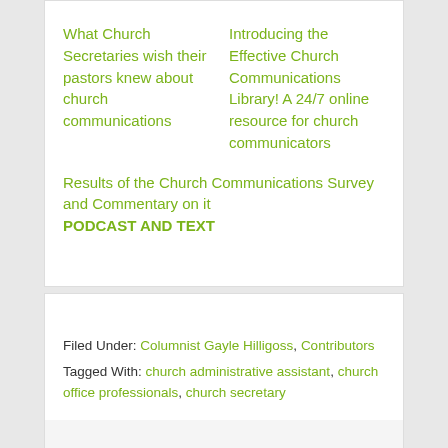What Church Secretaries wish their pastors knew about church communications
Introducing the Effective Church Communications Library! A 24/7 online resource for church communicators
Results of the Church Communications Survey and Commentary on it
PODCAST AND TEXT
Filed Under: Columnist Gayle Hilligoss, Contributors
Tagged With: church administrative assistant, church office professionals, church secretary